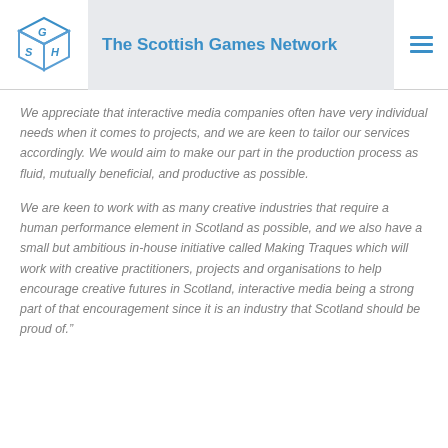The Scottish Games Network
We appreciate that interactive media companies often have very individual needs when it comes to projects, and we are keen to tailor our services accordingly. We would aim to make our part in the production process as fluid, mutually beneficial, and productive as possible.
We are keen to work with as many creative industries that require a human performance element in Scotland as possible, and we also have a small but ambitious in-house initiative called Making Traques which will work with creative practitioners, projects and organisations to help encourage creative futures in Scotland, interactive media being a strong part of that encouragement since it is an industry that Scotland should be proud of.”